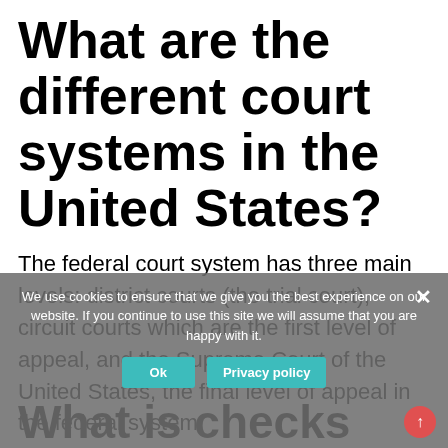What are the different court systems in the United States?
The federal court system has three main levels: district courts (the trial court), circuit courts which are the first level of appeal, and the Supreme Court of the United States, the final level of appeal in the federal system.
What is checks and balances in simple words?
We use cookies to ensure that we give you the best experience on our website. If you continue to use this site we will assume that you are happy with it.